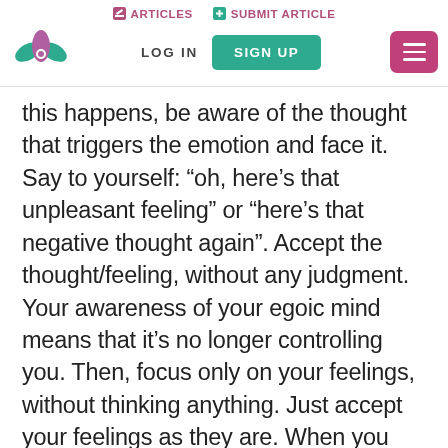ARTICLES   SUBMIT ARTICLE   LOG IN   SIGN UP
this happens, be aware of the thought that triggers the emotion and face it. Say to yourself: “oh, here’s that unpleasant feeling” or “here’s that negative thought again”. Accept the thought/feeling, without any judgment. Your awareness of your egoic mind means that it’s no longer controlling you. Then, focus only on your feelings, without thinking anything. Just accept your feelings as they are. When you are present, a sense of peace arises, and the unpleasant